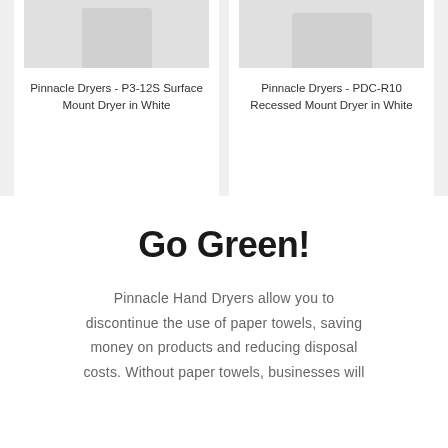[Figure (photo): Product image of Pinnacle Dryers P3-12S Surface Mount Dryer in White]
Pinnacle Dryers - P3-12S Surface Mount Dryer in White
[Figure (photo): Product image of Pinnacle Dryers PDC-R10 Recessed Mount Dryer in White]
Pinnacle Dryers - PDC-R10 Recessed Mount Dryer in White
Go Green!
Pinnacle Hand Dryers allow you to discontinue the use of paper towels, saving money on products and reducing disposal costs. Without paper towels, businesses will